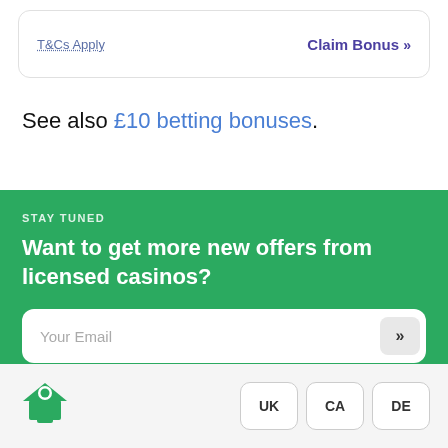T&Cs Apply    Claim Bonus »
See also £10 betting bonuses.
STAY TUNED
Want to get more new offers from licensed casinos?
Your Email
I am 18+ and I agree to receiving emails on gambling news and offers. By subscribing you verify that you are aware of terms and conditions
[Figure (logo): Green spade card suit logo icon]
UK  CA  DE